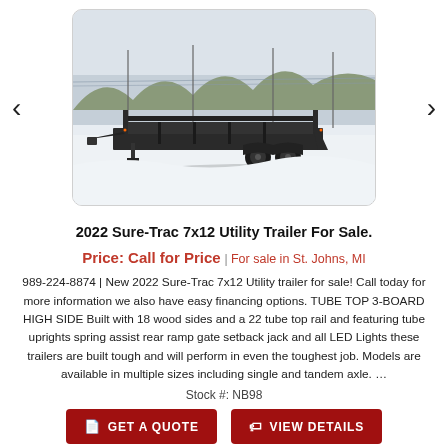[Figure (photo): A 2022 Sure-Trac 7x12 utility trailer with tube top and high sides, parked outdoors in a snowy lot with a flat landscape and trees in the background.]
2022 Sure-Trac 7x12 Utility Trailer For Sale.
Price: Call for Price | For sale in St. Johns, MI
989-224-8874 | New 2022 Sure-Trac 7x12 Utility trailer for sale! Call today for more information we also have easy financing options. TUBE TOP 3-BOARD HIGH SIDE Built with 18 wood sides and a 22 tube top rail and featuring tube uprights spring assist rear ramp gate setback jack and all LED Lights these trailers are built tough and will perform in even the toughest job. Models are available in multiple sizes including single and tandem axle. ...
Stock #: NB98
GET A QUOTE
VIEW DETAILS